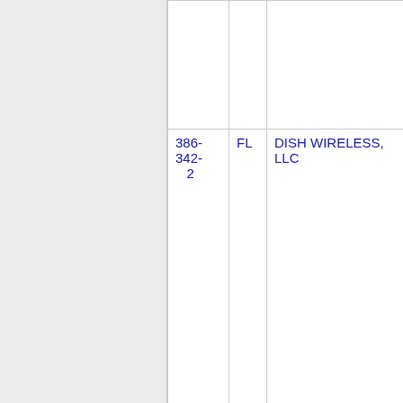| Number | State | Company Name | Code |
| --- | --- | --- | --- |
|  |  |  |  |
| 386-342-2 | FL | DISH WIRELESS, LLC | 490J |
| 386-342-3 | FL | ONVOY, LLC - FL (Inteliquent) | 937C |